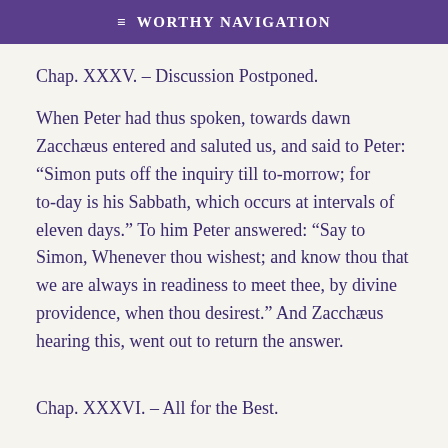≡ Worthy Navigation
Chap. XXXV. – Discussion Postponed.
When Peter had thus spoken, towards dawn Zacchæus entered and saluted us, and said to Peter: “Simon puts off the inquiry till to-morrow; for to-day is his Sabbath, which occurs at intervals of eleven days.” To him Peter answered: “Say to Simon, Whenever thou wishest; and know thou that we are always in readiness to meet thee, by divine providence, when thou desirest.” And Zacchæus hearing this, went out to return the answer.
Chap. XXXVI. – All for the Best.